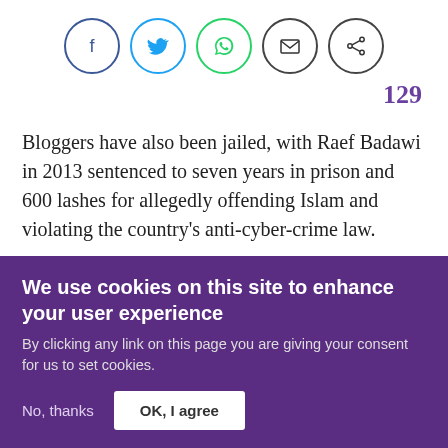[Figure (other): Social sharing icons row: Facebook (blue circle), Twitter (blue circle), WhatsApp (green circle), Email (black circle), Share (black circle)]
129
Bloggers have also been jailed, with Raef Badawi in 2013 sentenced to seven years in prison and 600 lashes for allegedly offending Islam and violating the country’s anti-cyber-crime law.
Neither the Huffington Post nor Saudi Arabia’s Ministry
We use cookies on this site to enhance your user experience
By clicking any link on this page you are giving your consent for us to set cookies.
No, thanks    OK, I agree